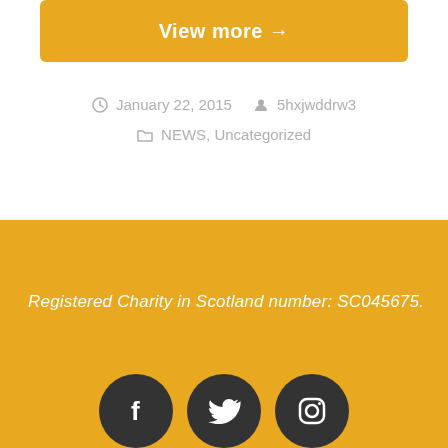View more →
January 22, 2015   5hxjwddrw3   NEWS, Uncategorized
Registered Charity in Scotland number: SC045675.
[Figure (illustration): Three social media icons (Facebook, Twitter, Instagram) as white symbols on dark gray circles, displayed at the bottom of a golden-yellow footer area.]